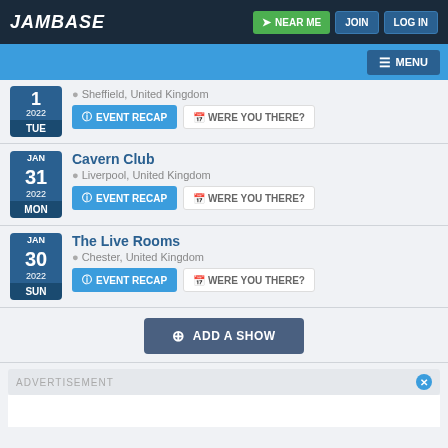JamBase | NEAR ME | JOIN | LOG IN
MENU
1 2022 TUE | Sheffield, United Kingdom | EVENT RECAP | WERE YOU THERE?
Cavern Club | JAN 31 2022 MON | Liverpool, United Kingdom | EVENT RECAP | WERE YOU THERE?
The Live Rooms | JAN 30 2022 SUN | Chester, United Kingdom | EVENT RECAP | WERE YOU THERE?
ADD A SHOW
ADVERTISEMENT